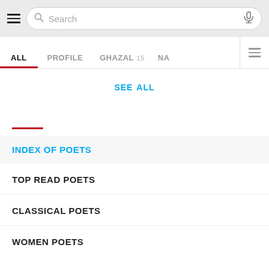Search bar with hamburger menu, search input, and microphone icon
ALL | PROFILE | GHAZAL 15 | NA
SEE ALL
INDEX OF POETS
TOP READ POETS
CLASSICAL POETS
WOMEN POETS